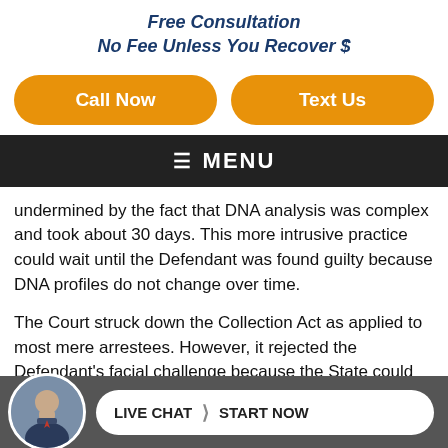Free Consultation
No Fee Unless You Recover $
[Figure (other): Call Now button (orange rounded rectangle)]
[Figure (other): Text Us button (orange rounded rectangle)]
≡  MENU
undermined by the fact that DNA analysis was complex and took about 30 days. This more intrusive practice could wait until the Defendant was found guilty because DNA profiles do not change over time.
The Court struck down the Collection Act as applied to most mere arrestees. However, it rejected the Defendant's facial challenge because the State could obtain DNA samples without a warrant if an arrestee rendered traditional booking procedures useless by altering his or her fingernails or facial features. Such sa... could...
[Figure (photo): Photo of a man in a suit, circular avatar in the live chat footer bar]
LIVE CHAT  ❯  START NOW